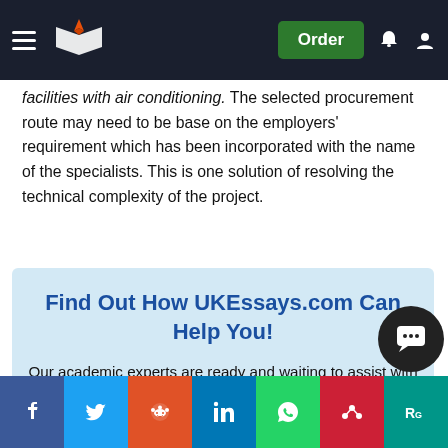UKEssays.com navigation bar with logo and Order button
facilities with air conditioning. The selected procurement route may need to be base on the employers' requirement which has been incorporated with the name of the specialists. This is one solution of resolving the technical complexity of the project.
Find Out How UKEssays.com Can Help You!

Our academic experts are ready and waiting to assist with any writing project you may have. From simple essay plans, through to full dissertations, you can guarantee we have a service perfectly
[Figure (infographic): Social sharing bar with Facebook, Twitter, Reddit, LinkedIn, WhatsApp, Mendeley, ResearchGate buttons]